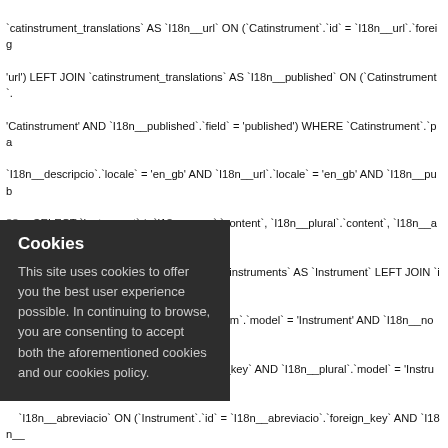SQL code listing with line numbers 88-90, showing database JOIN queries involving catinstrument_translations, instrument_translations, Catinstrument, Instrument tables with I18n fields for locale en_gb.
Cookies overlay: 'Cookies — This site uses cookies to offer you the best user experience possible. In continuing to browse, you are consenting to accept both the aforementioned cookies and our cookies policy.'